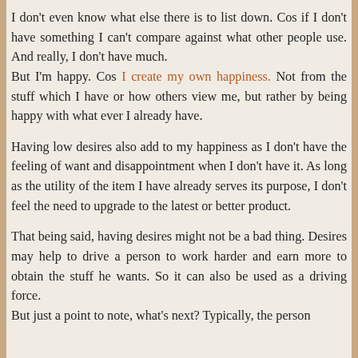I don't even know what else there is to list down. Cos if I don't have something I can't compare against what other people use. And really, I don't have much.
But I'm happy. Cos I create my own happiness. Not from the stuff which I have or how others view me, but rather by being happy with what ever I already have.
Having low desires also add to my happiness as I don't have the feeling of want and disappointment when I don't have it. As long as the utility of the item I have already serves its purpose, I don't feel the need to upgrade to the latest or better product.
That being said, having desires might not be a bad thing. Desires may help to drive a person to work harder and earn more to obtain the stuff he wants. So it can also be used as a driving force.
But just a point to note, what's next? Typically, the person will be...